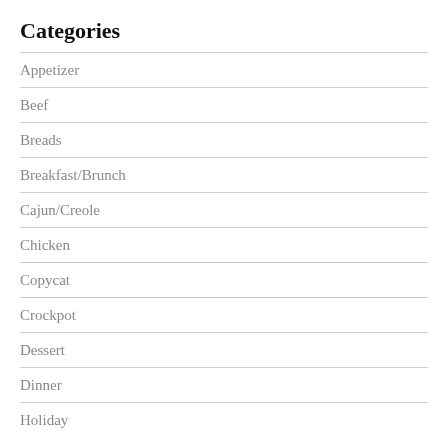Categories
Appetizer
Beef
Breads
Breakfast/Brunch
Cajun/Creole
Chicken
Copycat
Crockpot
Dessert
Dinner
Holiday